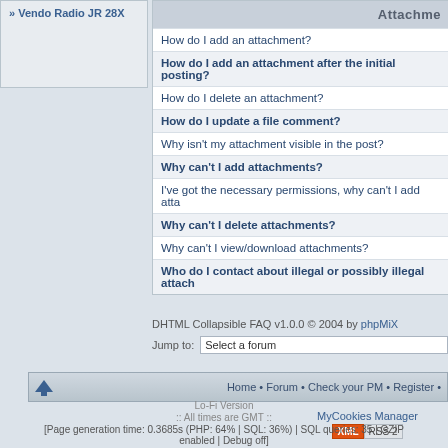» Vendo Radio JR 28X
Attachme
How do I add an attachment?
How do I add an attachment after the initial posting?
How do I delete an attachment?
How do I update a file comment?
Why isn't my attachment visible in the post?
Why can't I add attachments?
I've got the necessary permissions, why can't I add atta
Why can't I delete attachments?
Why can't I view/download attachments?
Who do I contact about illegal or possibly illegal attach
DHTML Collapsible FAQ v1.0.0 © 2004 by phpMiX
Jump to: Select a forum
Home • Forum • Check your PM • Register •
MyCookies Manager
XML RSS 2
Lo-Fi Version
:: All times are GMT ::
[Page generation time: 0.3685s (PHP: 64% | SQL: 36%) | SQL queries: 35 | GZIP enabled | Debug off]